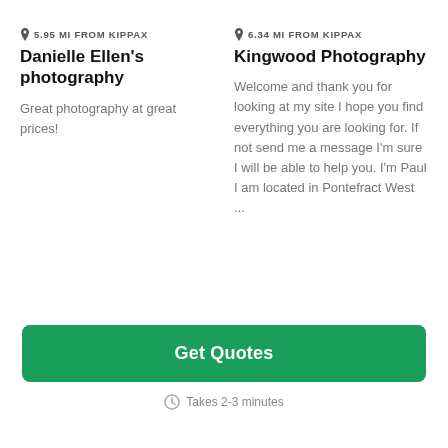5.95 MI FROM KIPPAX
Danielle Ellen's photography
Great photography at great prices!
6.34 MI FROM KIPPAX
Kingwood Photography
Welcome and thank you for looking at my site I hope you find everything you are looking for. If not send me a message I'm sure I will be able to help you. I'm Paul I am located in Pontefract West ...
Get Quotes
Takes 2-3 minutes